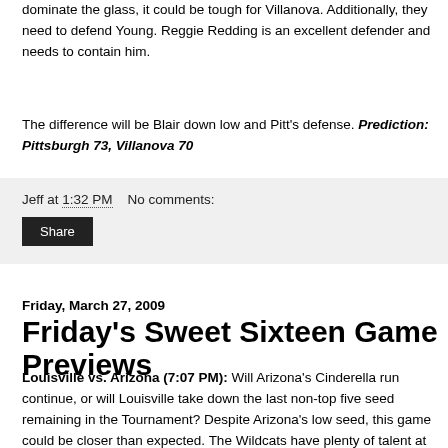dominate the glass, it could be tough for Villanova. Additionally, they need to defend Young. Reggie Redding is an excellent defender and needs to contain him.
The difference will be Blair down low and Pitt's defense. Prediction: Pittsburgh 73, Villanova 70
Jeff at 1:32 PM    No comments:
Share
Friday, March 27, 2009
Friday's Sweet Sixteen Game Previews
Louisville vs. Arizona (7:07 PM): Will Arizona's Cinderella run continue, or will Louisville take down the last non-top five seed remaining in the Tournament? Despite Arizona's low seed, this game could be closer than expected. The Wildcats have plenty of talent at the key positions, and might have an advantage on the Cardinals in a few spots. Plus, Louisville's pressure defense showed some holes against Siena, and Nic Wise has the ability to exploit that. Furthermore, will the